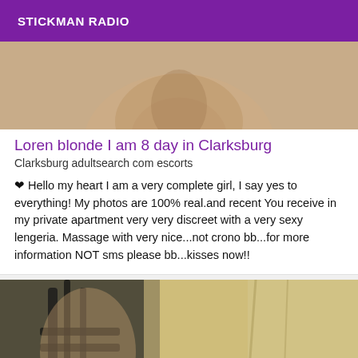STICKMAN RADIO
[Figure (photo): Close-up photo of skin/body, cropped at top of card]
Loren blonde I am 8 day in Clarksburg
Clarksburg adultsearch com escorts
❤ Hello my heart I am a very complete girl, I say yes to everything! My photos are 100% real.and recent You receive in my private apartment very very discreet with a very sexy lengeria. Massage with very nice...not crono bb...for more information NOT sms please bb...kisses now!!
[Figure (photo): Photo of a woman in dark lingerie standing near curtains]